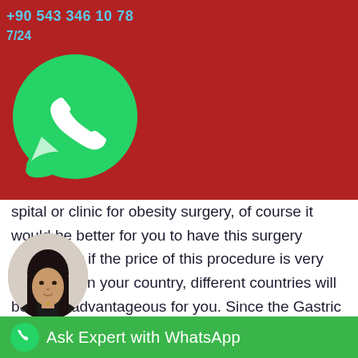+90 543 346 10 78
7/24
[Figure (logo): WhatsApp logo in white on green circle with white speech bubble tail, on red background]
...hospital or clinic for obesity surgery, of course it would be better for you to have this surgery abroad. Or if the price of this procedure is very expensive in your country, different countries will be more advantageous for you. Since the Gastric Balloon procedure is a simple procedure, you can also be during any foreign trip. For example, if you want to visit for a holiday, you can also have this
[Figure (photo): Portrait of a young Asian woman with long dark hair, wearing a black top, circular cropped profile image]
Ask Expert with WhatsApp